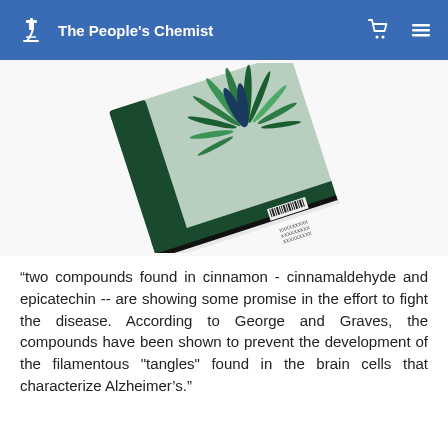The People's Chemist
[Figure (photo): A tilted book/journal cover featuring a palm or spiky green plant illustration on a mint-green and dark green background, with a barcode and text at bottom right.]
“two compounds found in cinnamon - cinnamaldehyde and epicatechin -- are showing some promise in the effort to fight the disease. According to George and Graves, the compounds have been shown to prevent the development of the filamentous "tangles" found in the brain cells that characterize Alzheimer’s.”